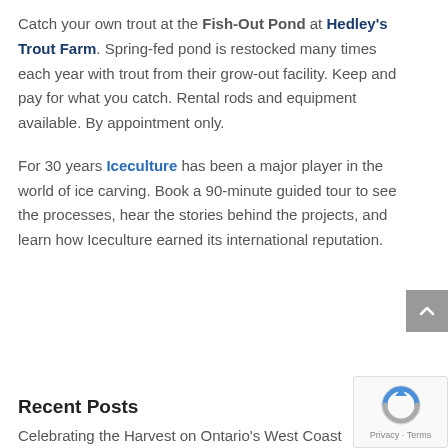Catch your own trout at the Fish-Out Pond at Hedley's Trout Farm. Spring-fed pond is restocked many times each year with trout from their grow-out facility. Keep and pay for what you catch. Rental rods and equipment available. By appointment only.
For 30 years Iceculture has been a major player in the world of ice carving. Book a 90-minute guided tour to see the processes, hear the stories behind the projects, and learn how Iceculture earned its international reputation.
Recent Posts
Celebrating the Harvest on Ontario's West Coast